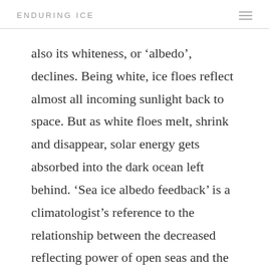ENDURING ICE
also its whiteness, or ‘albedo’, declines. Being white, ice floes reflect almost all incoming sunlight back to space. But as white floes melt, shrink and disappear, solar energy gets absorbed into the dark ocean left behind. ‘Sea ice albedo feedback’ is a climatologist’s reference to the relationship between the decreased reflecting power of open seas and the increased solar